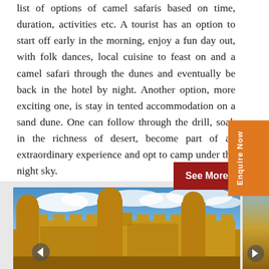list of options of camel safaris based on time, duration, activities etc. A tourist has an option to start off early in the morning, enjoy a fun day out, with folk dances, local cuisine to feast on and a camel safari through the dunes and eventually be back in the hotel by night. Another option, more exciting one, is stay in tented accommodation on a sand dune. One can follow through the drill, soak in the richness of desert, become part of an extraordinary experience and opt to camp under the night sky.
See More
Enquire Now
[Figure (photo): Photo of a large golden sandstone fort (likely Jaisalmer Fort) with towers and battlements against a dramatic blue sky with white clouds. Navigation arrows visible at bottom corners.]